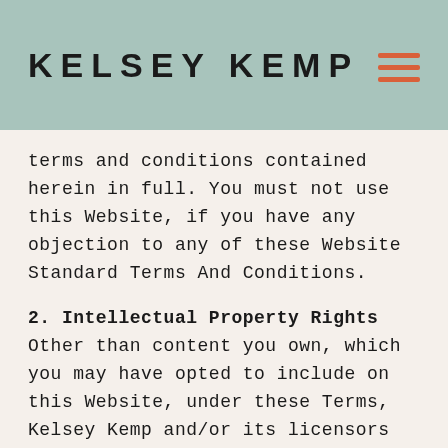KELSEY KEMP
terms and conditions contained herein in full. You must not use this Website, if you have any objection to any of these Website Standard Terms And Conditions.
2. Intellectual Property Rights
Other than content you own, which you may have opted to include on this Website, under these Terms, Kelsey Kemp and/or its licensors own all rights to the intellectual property and material contained in this Website, and all such rights are reserved. You are granted a